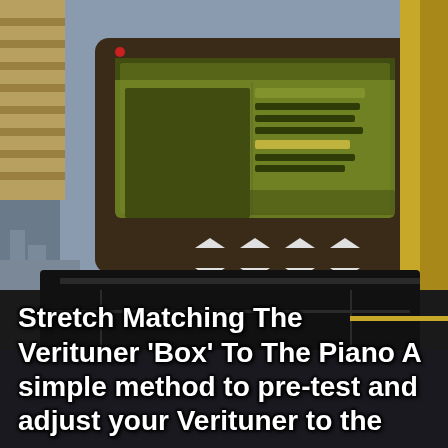[Figure (photo): Background photo of piano keys and city skyline. In the upper portion, a hand holds an electronic device (Verituner) with a green LCD display showing tuning data and navigation buttons. Below is the piano lid/keys visible with black lacquer finish.]
Stretch Matching The Verituner ‘Box’ To The Piano A simple method to pre-test and adjust your Verituner to the